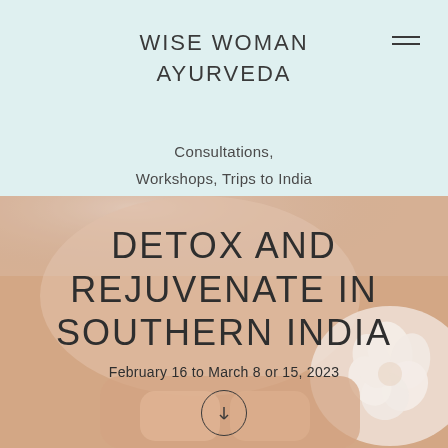WISE WOMAN AYURVEDA
Consultations, Workshops, Trips to India
[Figure (photo): Close-up photo of hands performing Ayurvedic foot massage with a white flower visible]
DETOX AND REJUVENATE IN SOUTHERN INDIA
February 16 to March 8 or 15, 2023